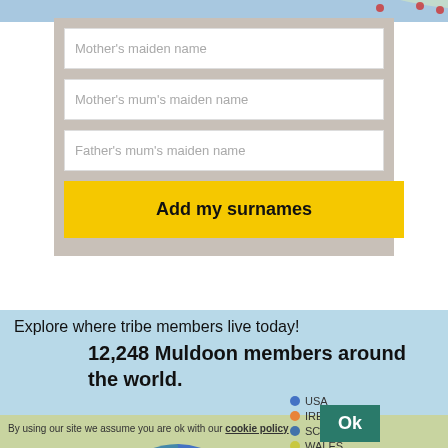[Figure (screenshot): Map strip at top of page showing partial geographic map]
Mother's maiden name
Mother's mum's maiden name
Father's mum's maiden name
Add my surnames
Explore where tribe members live today!
12,248 Muldoon members around the world.
[Figure (pie-chart): Muldoon members by country]
By using our site we assume you are ok with our cookie policy
Ok